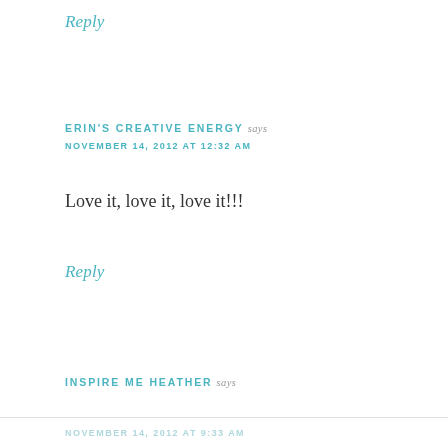Reply
ERIN'S CREATIVE ENERGY says
NOVEMBER 14, 2012 AT 12:32 AM
Love it, love it, love it!!!
Reply
INSPIRE ME HEATHER says
NOVEMBER 14, 2012 AT 9:33 AM